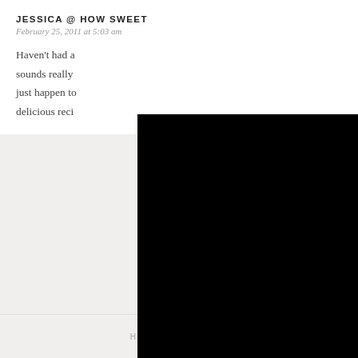JESSICA @ HOW SWEET
February 25, 2011 at 5:03 am
Haven't had a [obscured] sounds really [obscured] just happen to [obscured] delicious reci[obscured]
KRISTEN @ THAT HOOSIER GIRL
February 25, 2011 at 5:06 am
Or white chocolate chips! Strawberries, vanilla bean, and white chocolate chips?! Sounds like the perfect breakfast scone for a spring day!
HANNAH / CULTURE